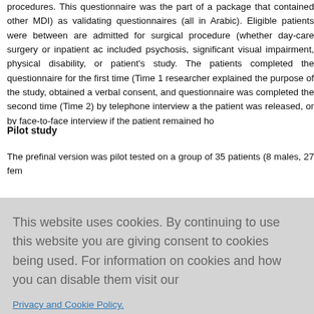procedures. This questionnaire was the part of a package that contained other MDI) as validating questionnaires (all in Arabic). Eligible patients were between are admitted for surgical procedure (whether day-care surgery or inpatient ac included psychosis, significant visual impairment, physical disability, or patient's study. The patients completed the questionnaire for the first time (Time 1 researcher explained the purpose of the study, obtained a verbal consent, and questionnaire was completed the second time (Time 2) by telephone interview a the patient was released, or by face-to-face interview if the patient remained ho
Pilot study
The prefinal version was pilot tested on a group of 35 patients (8 males, 27 fem
This website uses cookies. By continuing to use this website you are giving consent to cookies being used. For information on cookies and how you can disable them visit our
Privacy and Cookie Policy.
AGREE & PROCEED
ents re ecided, sy; (2) d like th
for future assessments; (4) the questionnaire lacks important questions rega